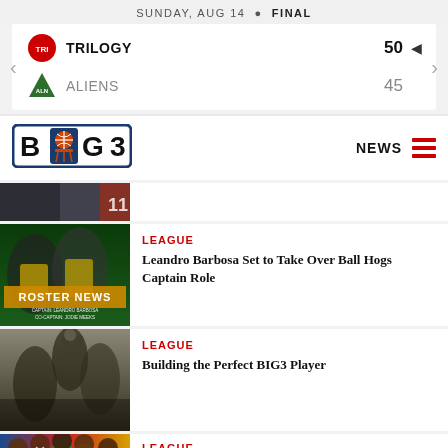SUNDAY, AUG 14 • FINAL
TRILOGY 50 | ALIENS 45
[Figure (logo): BIG3 basketball league logo with basketball icon]
NEWS
[Figure (photo): Partial top image of basketball players]
[Figure (photo): Roster News image showing Leandro Barbosa and teammate in yellow/green uniforms with text ROSTER NEWS, CAPTAIN: LEANDRO BARBOSA, CO-CAPTAIN: JODIE MEEKS]
LEAGUE
Leandro Barbosa Set to Take Over Ball Hogs Captain Role
[Figure (photo): Basketball players in action, dunking and playing]
LEAGUE
Building the Perfect BIG3 Player
[Figure (photo): Group of basketball players smiling, colorful jerseys]
LEAGUE
New Talent Splashes into the